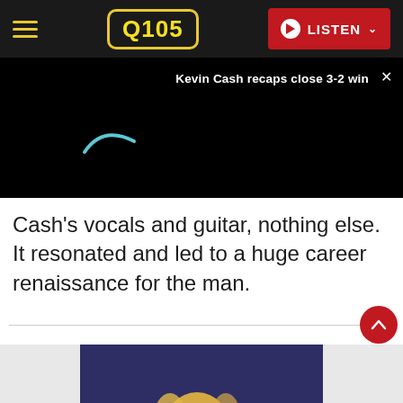Q105 — LISTEN
[Figure (screenshot): Video player area with dark background, loading spinner arc, title 'Kevin Cash recaps close 3-2 win', and close X button]
Cash's vocals and guitar, nothing else. It resonated and led to a huge career renaissance for the man.
[Figure (photo): Blonde woman singing into microphone on stage, with musician visible in background]